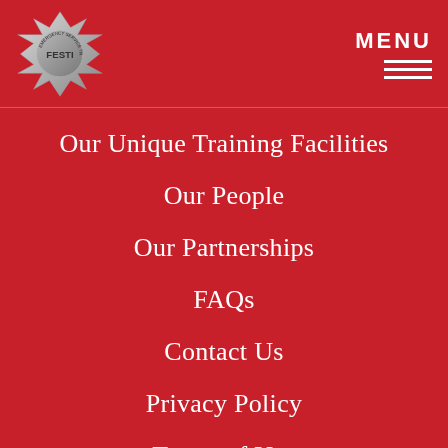FESTI logo and MENU navigation header
Our Unique Training Facilities
Our People
Our Partnerships
FAQs
Contact Us
Privacy Policy
Terms of Use
Policy and Procedures